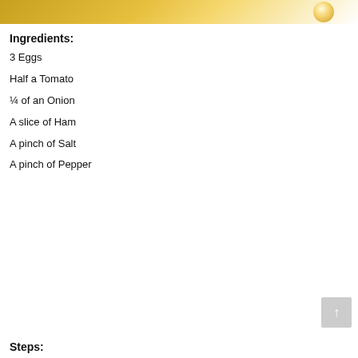[Figure (photo): Top portion of a food photo with golden/yellow tones, partially visible at the top of the page]
Ingredients:
3 Eggs
Half a Tomato
¼ of an Onion
A slice of Ham
A pinch of Salt
A pinch of Pepper
Steps: